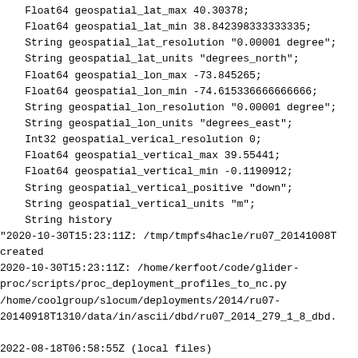Float64 geospatial_lat_max 40.30378;
    Float64 geospatial_lat_min 38.842398333333335;
    String geospatial_lat_resolution "0.00001 degree";
    String geospatial_lat_units "degrees_north";
    Float64 geospatial_lon_max -73.845265;
    Float64 geospatial_lon_min -74.615336666666666;
    String geospatial_lon_resolution "0.00001 degree";
    String geospatial_lon_units "degrees_east";
    Int32 geospatial_verical_resolution 0;
    Float64 geospatial_vertical_max 39.55441;
    Float64 geospatial_vertical_min -0.1190912;
    String geospatial_vertical_positive "down";
    String geospatial_vertical_units "m";
    String history
"2020-10-30T15:23:11Z: /tmp/tmpfs4hacle/ru07_20141008T
created
2020-10-30T15:23:11Z: /home/kerfoot/code/glider-
proc/scripts/proc_deployment_profiles_to_nc.py
/home/coolgroup/slocum/deployments/2014/ru07-
20140918T1310/data/in/ascii/dbd/ru07_2014_279_1_8_dbd.

2022-08-18T06:58:55Z (local files)
2022-08-18T06:58:55Z http://slocum-
data.marine.rutgers.edu/erddap/tabledap/ru07-20140918T
delayed.html";
    String id "ru07-20140918T1310";